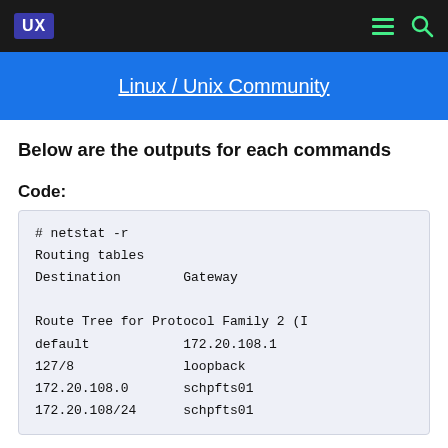UX  [menu icon] [search icon]
Linux / Unix Community
Below are the outputs for each commands
Code:
# netstat -r
Routing tables
Destination        Gateway

Route Tree for Protocol Family 2 (I...
default            172.20.108.1
127/8              loopback
172.20.108.0       schpfts01
172.20.108/24      schpfts01